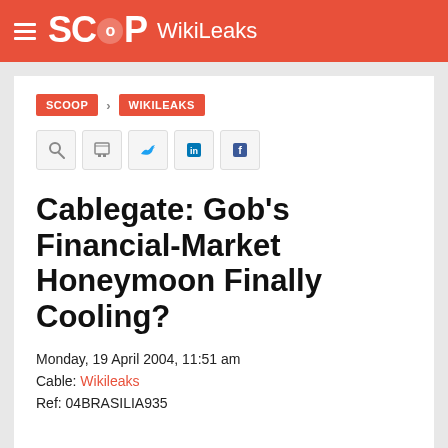SCOOP WikiLeaks
SCOOP > WIKILEAKS
Cablegate: Gob's Financial-Market Honeymoon Finally Cooling?
Monday, 19 April 2004, 11:51 am
Cable: Wikileaks
Ref: 04BRASILIA935